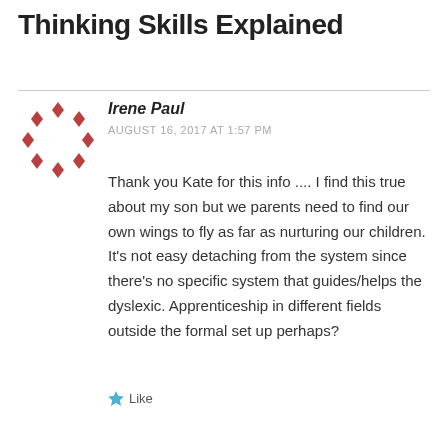Thinking Skills Explained
[Figure (illustration): Circular logo/avatar made of red/terracotta diamond shapes arranged in a ring pattern]
Irene Paul
AUGUST 16, 2017 AT 1:57 PM
Thank you Kate for this info .... I find this true about my son but we parents need to find our own wings to fly as far as nurturing our children. It's not easy detaching from the system since there's no specific system that guides/helps the dyslexic. Apprenticeship in different fields outside the formal set up perhaps?
Like